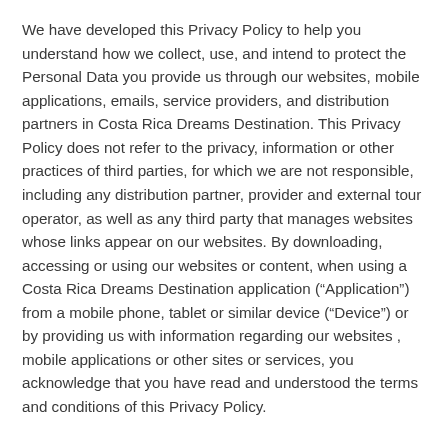We have developed this Privacy Policy to help you understand how we collect, use, and intend to protect the Personal Data you provide us through our websites, mobile applications, emails, service providers, and distribution partners in Costa Rica Dreams Destination. This Privacy Policy does not refer to the privacy, information or other practices of third parties, for which we are not responsible, including any distribution partner, provider and external tour operator, as well as any third party that manages websites whose links appear on our websites. By downloading, accessing or using our websites or content, when using a Costa Rica Dreams Destination application (“Application”) from a mobile phone, tablet or similar device (“Device”) or by providing us with information regarding our websites , mobile applications or other sites or services, you acknowledge that you have read and understood the terms and conditions of this Privacy Policy.